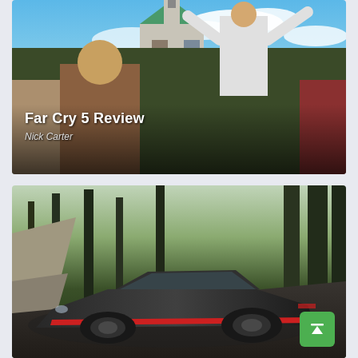[Figure (screenshot): Far Cry 5 game screenshot showing armed characters in front of a church with a man in a suit raising his arms, overlaid with title text 'Far Cry 5 Review' and author 'Nick Carter']
Far Cry 5 Review
Nick Carter
[Figure (screenshot): Racing game screenshot showing a dark sports car (Lamborghini-style) with red accents driving through a forest mountain road, with a green scroll-to-top button in bottom right corner]